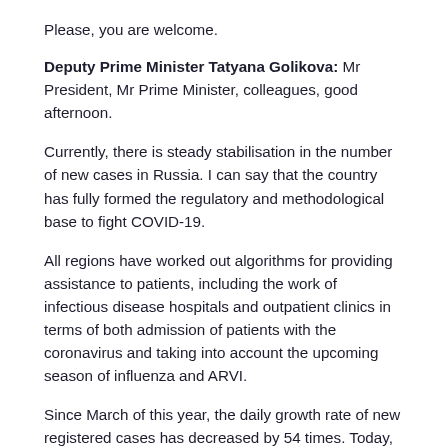Please, you are welcome.
Deputy Prime Minister Tatyana Golikova: Mr President, Mr Prime Minister, colleagues, good afternoon.
Currently, there is steady stabilisation in the number of new cases in Russia. I can say that the country has fully formed the regulatory and methodological base to fight COVID-19.
All regions have worked out algorithms for providing assistance to patients, including the work of infectious disease hospitals and outpatient clinics in terms of both admission of patients with the coronavirus and taking into account the upcoming season of influenza and ARVI.
Since March of this year, the daily growth rate of new registered cases has decreased by 54 times. Today, the daily growth is 0.5 percent. By the third decade of August, asymptomatic forms of the disease predominate among